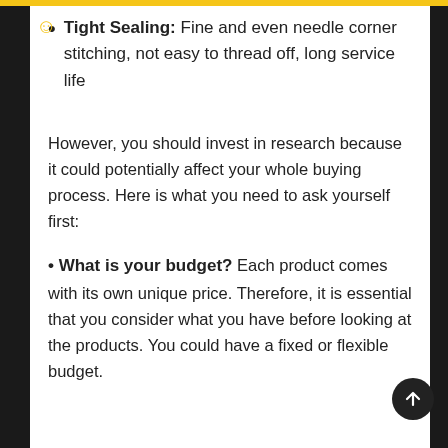Tight Sealing: Fine and even needle corner stitching, not easy to thread off, long service life
However, you should invest in research because it could potentially affect your whole buying process. Here is what you need to ask yourself first:
What is your budget? Each product comes with its own unique price. Therefore, it is essential that you consider what you have before looking at the products. You could have a fixed or flexible budget.